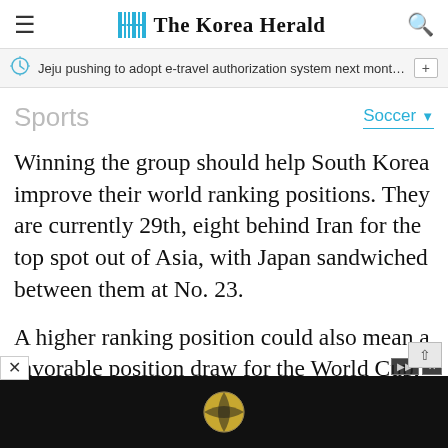The Korea Herald
Jeju pushing to adopt e-travel authorization system next month f…
Sports
Soccer
Winning the group should help South Korea improve their world ranking positions. They are currently 29th, eight behind Iran for the top spot out of Asia, with Japan sandwiched between them at No. 23.
A higher ranking position could also mean a favorable position draw for the World Cup, allowing South Korea to avoid tough